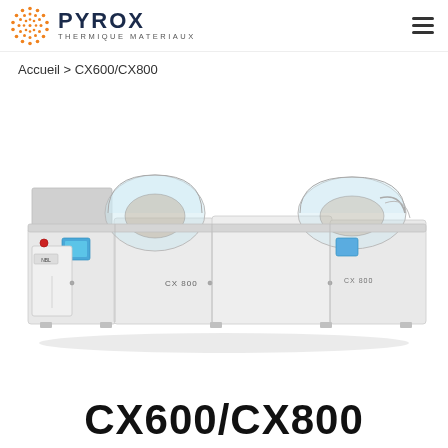PYROX THERMIQUE MATERIAUX
Accueil > CX600/CX800
[Figure (photo): Industrial thermal processing machine CX800 by Pyrox, a long white industrial furnace/conveyor system with transparent curved top covers, control panel on the left, multiple sections labeled CX 800.]
CX600/CX800